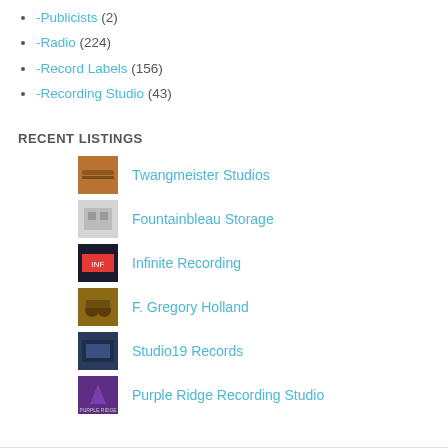-Publicists (2)
-Radio (224)
-Record Labels (156)
-Recording Studio (43)
RECENT LISTINGS
Twangmeister Studios
Fountainbleau Storage
Infinite Recording
F. Gregory Holland
Studio19 Records
Purple Ridge Recording Studio